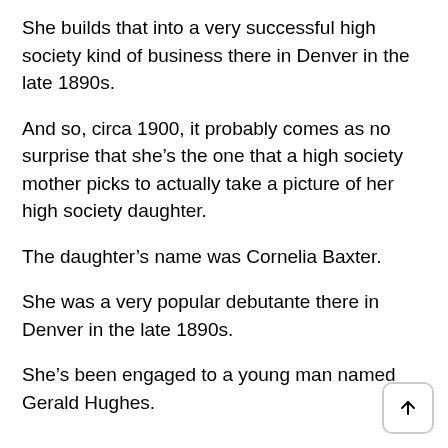She builds that into a very successful high society kind of business there in Denver in the late 1890s.
And so, circa 1900, it probably comes as no surprise that she’s the one that a high society mother picks to actually take a picture of her high society daughter.
The daughter’s name was Cornelia Baxter.
She was a very popular debutante there in Denver in the late 1890s.
She’s been engaged to a young man named Gerald Hughes.